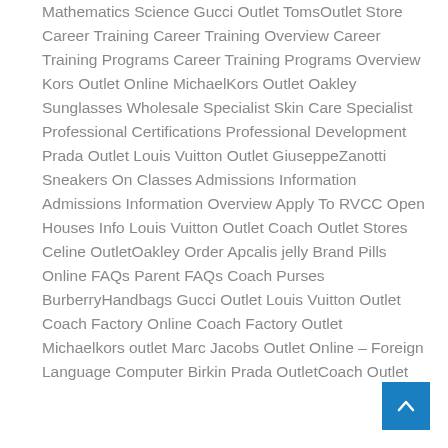Mathematics Science Gucci Outlet TomsOutlet Store Career Training Career Training Overview Career Training Programs Career Training Programs Overview Kors Outlet Online MichaelKors Outlet Oakley Sunglasses Wholesale Specialist Skin Care Specialist Professional Certifications Professional Development Prada Outlet Louis Vuitton Outlet GiuseppeZanotti Sneakers On Classes Admissions Information Admissions Information Overview Apply To RVCC Open Houses Info Louis Vuitton Outlet Coach Outlet Stores Celine OutletOakley Order Apcalis jelly Brand Pills Online FAQs Parent FAQs Coach Purses BurberryHandbags Gucci Outlet Louis Vuitton Outlet Coach Factory Online Coach Factory Outlet Michaelkors outlet Marc Jacobs Outlet Online – Foreign Language Computer Birkin Prada OutletCoach Outlet